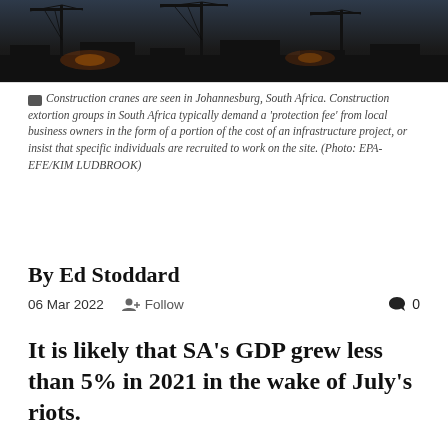[Figure (photo): Dark silhouette photo of construction cranes in Johannesburg, South Africa at dusk/night]
Construction cranes are seen in Johannesburg, South Africa. Construction extortion groups in South Africa typically demand a 'protection fee' from local business owners in the form of a portion of the cost of an infrastructure project, or insist that specific individuals are recruited to work on the site. (Photo: EPA-EFE/KIM LUDBROOK)
By Ed Stoddard
06 Mar 2022  Follow  0
It is likely that SA's GDP grew less than 5% in 2021 in the wake of July's riots.